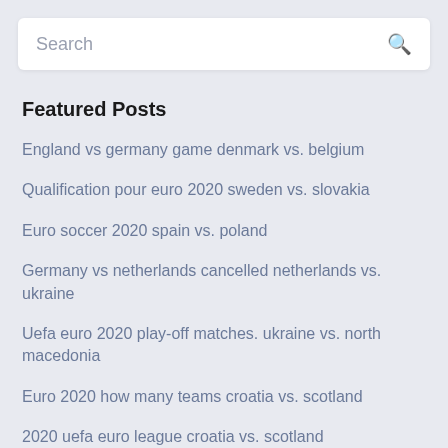[Figure (screenshot): Search bar with placeholder text 'Search' and a magnifying glass icon on the right]
Featured Posts
England vs germany game denmark vs. belgium
Qualification pour euro 2020 sweden vs. slovakia
Euro soccer 2020 spain vs. poland
Germany vs netherlands cancelled netherlands vs. ukraine
Uefa euro 2020 play-off matches. ukraine vs. north macedonia
Euro 2020 how many teams croatia vs. scotland
2020 uefa euro league croatia vs. scotland